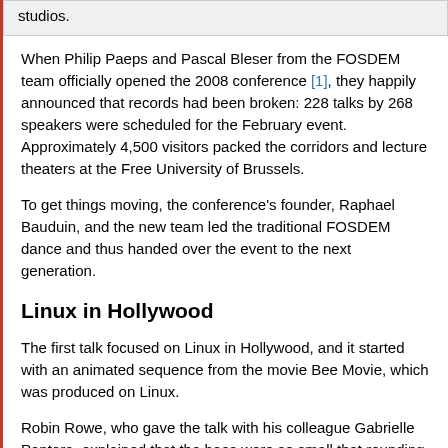studios.
When Philip Paeps and Pascal Bleser from the FOSDEM team officially opened the 2008 conference [1], they happily announced that records had been broken: 228 talks by 268 speakers were scheduled for the February event. Approximately 4,500 visitors packed the corridors and lecture theaters at the Free University of Brussels.
To get things moving, the conference's founder, Raphael Bauduin, and the new team led the traditional FOSDEM dance and thus handed over the event to the next generation.
Linux in Hollywood
The first talk focused on Linux in Hollywood, and it started with an animated sequence from the movie Bee Movie, which was produced on Linux.
Robin Rowe, who gave the talk with his colleague Gabrielle Pantera, explained that the bees were so small that rounding errors occurred in the software. He went on to disclose how Linux had established itself in Hollywood studios, from the first animations in Titanic, through Shrek, Finding Nemo, and The Matrix.